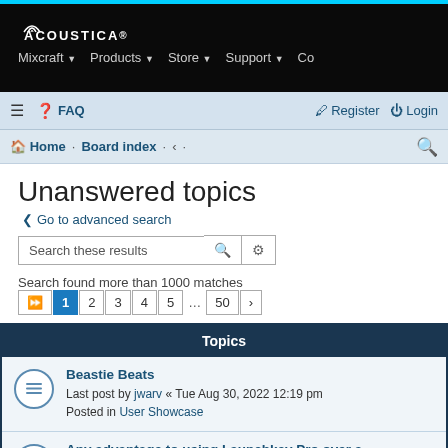ACOUSTICA Mixcraft Products Store Support Co
FAQ Register Login
Home · Board index · ·
Unanswered topics
< Go to advanced search
Search these results
Search found more than 1000 matches
| Topics |
| --- |
| Beastie Beats
Last post by jwarv « Tue Aug 30, 2022 12:19 pm
Posted in User Showcase |
| Any advantage to using Launchkey Pro over a Launchkey Mini MkII or Launchkey MkII?
Last post by purplepat69 « Mon Aug 29, 2022 6:29 am
Posted in Hardware Wars |
| First drum video. |